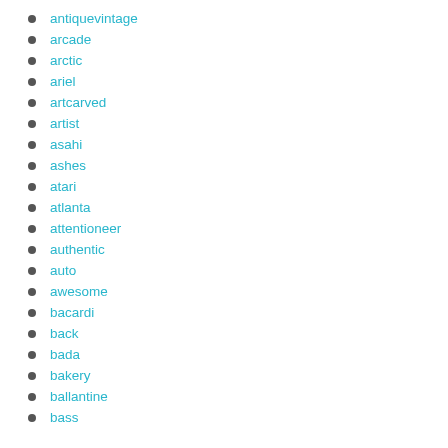antiquevintage
arcade
arctic
ariel
artcarved
artist
asahi
ashes
atari
atlanta
attentioneer
authentic
auto
awesome
bacardi
back
bada
bakery
ballantine
bass